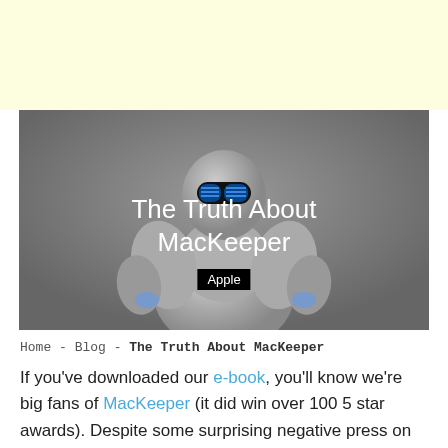[Figure (other): Light yellow advertisement banner at the top of the page]
[Figure (photo): A 3D rendered humanoid robot with a grey metallic body and glowing blue eyes, serving as the hero image background. Overlaid text reads 'The Truth About MacKeeper' with an 'Apple' badge below.]
Home - Blog - The Truth About MacKeeper
If you've downloaded our e-book, you'll know we're big fans of MacKeeper (it did win over 100 5 star awards). Despite some surprising negative press on the